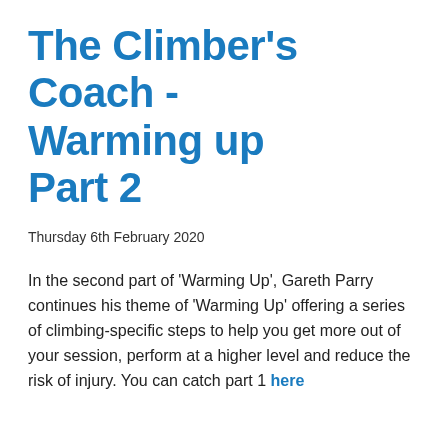The Climber's Coach - Warming up Part 2
Thursday 6th February 2020
In the second part of ‘Warming Up’, Gareth Parry continues his theme of ‘Warming Up’ offering a series of climbing-specific steps to help you get more out of your session, perform at a higher level and reduce the risk of injury. You can catch part 1 here